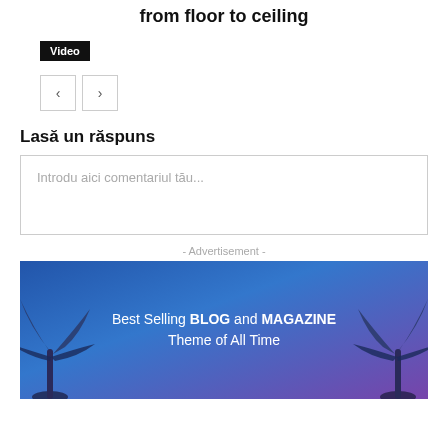from floor to ceiling
Video
[Figure (other): Navigation buttons with left and right arrows]
Lasă un răspuns
Introdu aici comentariul tău...
- Advertisement -
[Figure (illustration): Advertisement banner with palm trees and text: Best Selling BLOG and MAGAZINE Theme of All Time]